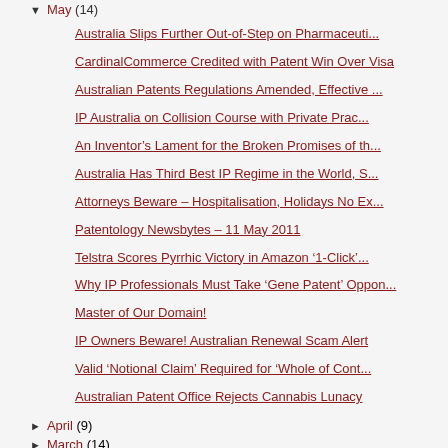▼ May (14)
Australia Slips Further Out-of-Step on Pharmaceuti...
CardinalCommerce Credited with Patent Win Over Visa
Australian Patents Regulations Amended, Effective ...
IP Australia on Collision Course with Private Prac...
An Inventor's Lament for the Broken Promises of th...
Australia Has Third Best IP Regime in the World, S...
Attorneys Beware – Hospitalisation, Holidays No Ex...
Patentology Newsbytes – 11 May 2011
Telstra Scores Pyrrhic Victory in Amazon '1-Click'...
Why IP Professionals Must Take 'Gene Patent' Oppon...
Master of Our Domain!
IP Owners Beware! Australian Renewal Scam Alert
Valid 'Notional Claim' Required for 'Whole of Cont...
Australian Patent Office Rejects Cannabis Lunacy
► April (9)
► March (14)